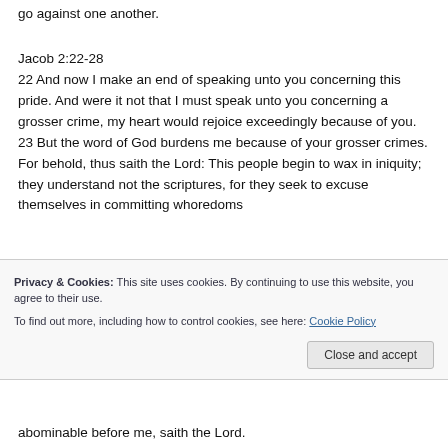go against one another.
Jacob 2:22-28
22 And now I make an end of speaking unto you concerning this pride. And were it not that I must speak unto you concerning a grosser crime, my heart would rejoice exceedingly because of you. 23 But the word of God burdens me because of your grosser crimes. For behold, thus saith the Lord: This people begin to wax in iniquity; they understand not the scriptures, for they seek to excuse themselves in committing whoredoms abominable before me, saith the Lord.
Privacy & Cookies: This site uses cookies. By continuing to use this website, you agree to their use. To find out more, including how to control cookies, see here: Cookie Policy
Close and accept